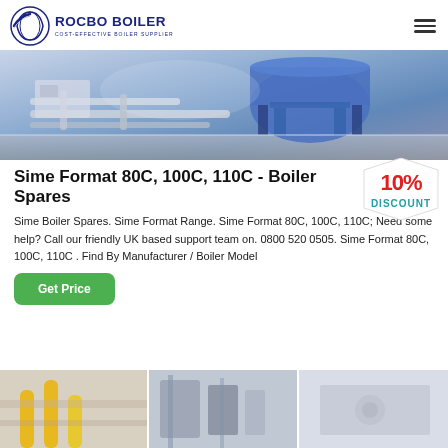ROCBO BOILER - COST-EFFECTIVE BOILER SUPPLIER
[Figure (photo): Industrial boiler equipment with pipes and blue cylindrical tank in a facility]
Sime Format 80C, 100C, 110C - Boiler Spares
[Figure (infographic): 10% DISCOUNT badge/stamp in red and teal]
Sime Boiler Spares. Sime Format Range. Sime Format 80C, 100C, 110C; Need some help? Call our friendly UK based support team on. 0800 520 0505. Sime Format 80C, 100C, 110C . Find By Manufacturer / Boiler Model
[Figure (other): Get Price button (green rounded rectangle)]
[Figure (photo): Three thumbnail photos of industrial boiler/pipe installations at the bottom of the page]